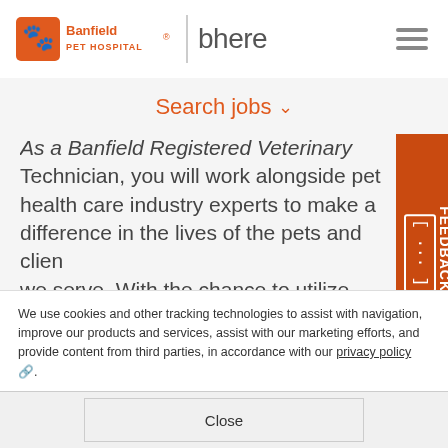Banfield Pet Hospital | bhere
Search jobs ▾
As a Banfield Registered Veterinary Technician, you will work alongside pet health care industry experts to make a difference in the lives of the pets and clients we serve. With the chance to utilize your veterinary knowledge, communication skills and love for pets, this role will afford you th…
Candidate FEEDBACK
We use cookies and other tracking technologies to assist with navigation, improve our products and services, assist with our marketing efforts, and provide content from third parties, in accordance with our privacy policy.
Close